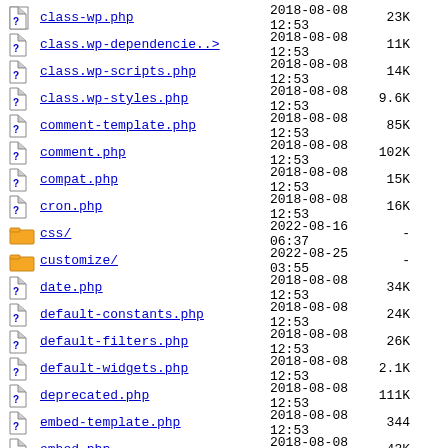class-wp.php  2018-08-08 12:53  23K
class.wp-dependencie..>  2018-08-08 12:53  11K
class.wp-scripts.php  2018-08-08 12:53  14K
class.wp-styles.php  2018-08-08 12:53  9.6K
comment-template.php  2018-08-08 12:53  85K
comment.php  2018-08-08 12:53  102K
compat.php  2018-08-08 12:53  15K
cron.php  2018-08-08 12:53  16K
css/  2022-08-16 06:37  -
customize/  2022-08-25 03:55  -
date.php  2018-08-08 12:53  34K
default-constants.php  2018-08-08 12:53  24K
default-filters.php  2018-08-08 12:53  26K
default-widgets.php  2018-08-08 12:53  2.1K
deprecated.php  2018-08-08 12:53  111K
embed-template.php  2018-08-08 12:53  344
embed.php  2018-08-08 12:53  43K